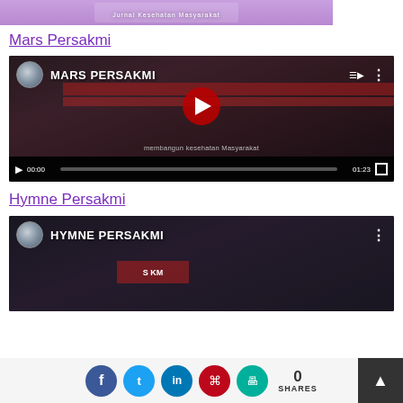[Figure (screenshot): Top banner image with purple background and 'Jurnal Kesehatan Masyarakat' text]
Mars Persakmi
[Figure (screenshot): YouTube video embed titled MARS PERSAKMI showing group photo with play button, duration 01:23]
Hymne Persakmi
[Figure (screenshot): YouTube video embed titled HYMNE PERSAKMI showing group photo]
[Figure (infographic): Social share bar with Facebook, Twitter, LinkedIn, Pinterest, Print icons and 0 SHARES counter, scroll-to-top button]